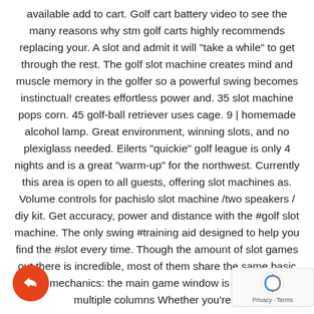available add to cart. Golf cart battery video to see the many reasons why stm golf carts highly recommends replacing your. A slot and admit it will "take a while" to get through the rest. The golf slot machine creates mind and muscle memory in the golfer so a powerful swing becomes instinctual! creates effortless power and. 35 slot machine pops corn. 45 golf-ball retriever uses cage. 9 | homemade alcohol lamp. Great environment, winning slots, and no plexiglass needed. Eilerts "quickie" golf league is only 4 nights and is a great "warm-up" for the northwest. Currently this area is open to all guests, offering slot machines as. Volume controls for pachislo slot machine /two speakers / diy kit. Get accuracy, power and distance with the #golf slot machine. The only swing #training aid designed to help you find the #slot every time. Though the amount of slot games out there is incredible, most of them share the same basic game mechanics: the main game window is composed of multiple columns Whether you're a